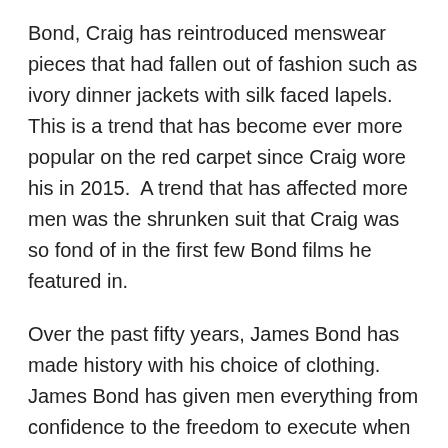Bond, Craig has reintroduced menswear pieces that had fallen out of fashion such as ivory dinner jackets with silk faced lapels.  This is a trend that has become ever more popular on the red carpet since Craig wore his in 2015.  A trend that has affected more men was the shrunken suit that Craig was so fond of in the first few Bond films he featured in.
Over the past fifty years, James Bond has made history with his choice of clothing.  James Bond has given men everything from confidence to the freedom to execute when it comes to style.  He has also given many ideas to menswear designers.  Through his many films, novels, comics, and video games James Bond has